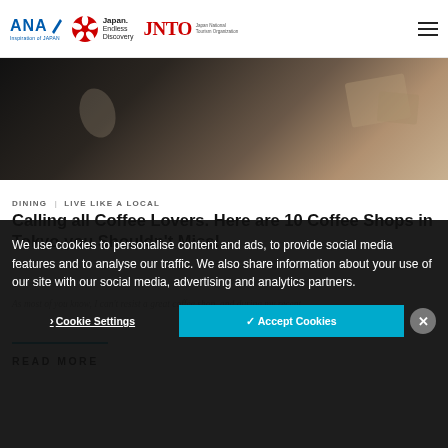ANA Inspiration of JAPAN | Japan. Endless Discovery | JNTO Japan National Tourism Organization
[Figure (photo): Overhead shot of hands and coffee items on a textured surface, dark tones]
DINING | LIVE LIKE A LOCAL
Calling all Coffee Lovers. Here are 10 Coffee Shops in Tokyo you Shouldn't Miss!
As most of you know, I can't resist a great coffee shop, and during my recent…
READ MORE
We use cookies to personalise content and ads, to provide social media features and to analyse our traffic. We also share information about your use of our site with our social media, advertising and analytics partners.